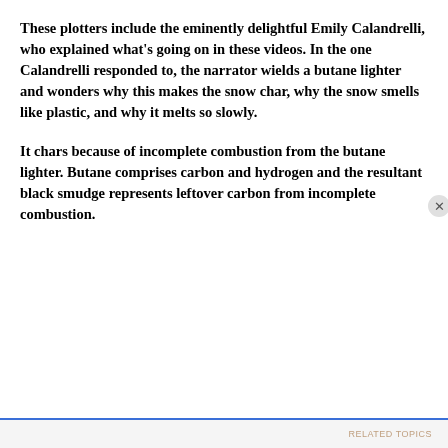These plotters include the eminently delightful Emily Calandrelli, who explained what's going on in these videos. In the one Calandrelli responded to, the narrator wields a butane lighter and wonders why this makes the snow char, why the snow smells like plastic, and why it melts so slowly.
It chars because of incomplete combustion from the butane lighter. Butane comprises carbon and hydrogen and the resultant black smudge represents leftover carbon from incomplete combustion.
Privacy & Cookies: This site uses cookies. By continuing to use this website, you agree to their use.
To find out more, including how to control cookies, see here: Cookie Policy
Close and accept